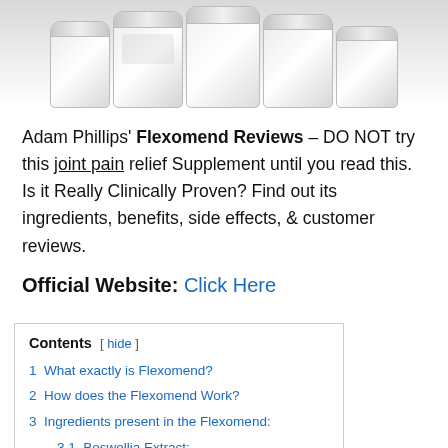[Figure (photo): Row of white supplement/vitamin bottles arranged side by side, photographed from slightly above against a white background]
Adam Phillips' Flexomend Reviews – DO NOT try this joint pain relief Supplement until you read this. Is it Really Clinically Proven? Find out its ingredients, benefits, side effects, & customer reviews.
Official Website: Click Here
Contents [ hide ]
1 What exactly is Flexomend?
2 How does the Flexomend Work?
3 Ingredients present in the Flexomend:
3.1 Boswellia Extract:
3.2 Chondroitin Sulfate: